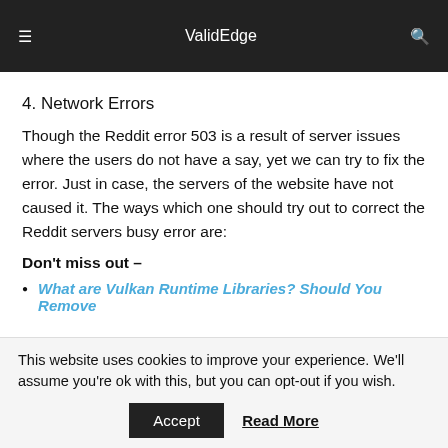ValidEdge
4. Network Errors
Though the Reddit error 503 is a result of server issues where the users do not have a say, yet we can try to fix the error. Just in case, the servers of the website have not caused it. The ways which one should try out to correct the Reddit servers busy error are:
Don't miss out –
What are Vulkan Runtime Libraries? Should You Remove
This website uses cookies to improve your experience. We'll assume you're ok with this, but you can opt-out if you wish. Accept  Read More